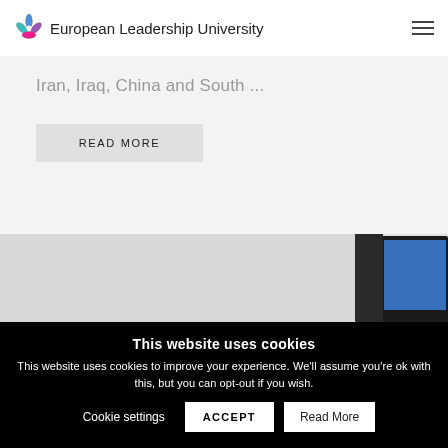European Leadership University
Iran, Iraq, China and South ...
READ MORE
[Figure (photo): Partial view of a computer monitor against a light gray background]
This website uses cookies
This website uses cookies to improve your experience. We'll assume you're ok with this, but you can opt-out if you wish.
Cookie settings  ACCEPT  Read More